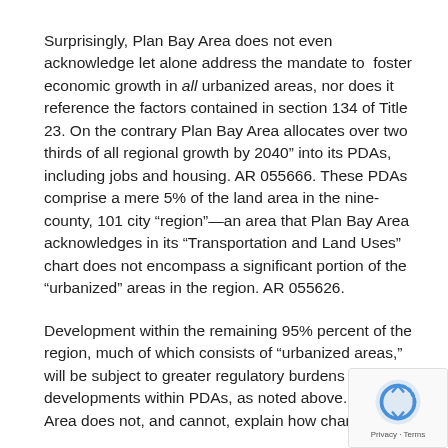Surprisingly, Plan Bay Area does not even acknowledge let alone address the mandate to foster economic growth in all urbanized areas, nor does it reference the factors contained in section 134 of Title 23. On the contrary Plan Bay Area allocates over two thirds of all regional growth by 2040” into its PDAs, including jobs and housing. AR 055666. These PDAs comprise a mere 5% of the land area in the nine-county, 101 city “region”—an area that Plan Bay Area acknowledges in its “Transportation and Land Uses” chart does not encompass a significant portion of the “urbanized” areas in the region. AR 055626.
Development within the remaining 95% percent of the region, much of which consists of “urbanized areas,” will be subject to greater regulatory burdens than developments within PDAs, as noted above. Plan Bay Area does not, and cannot, explain how channeling